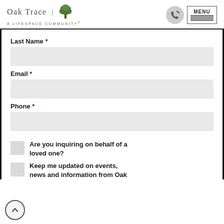[Figure (logo): Oak Trace | A Lifespace Community logo with tree icon]
Last Name *
Email *
Phone *
Are you inquiring on behalf of a loved one?
Keep me updated on events, news and information from Oak